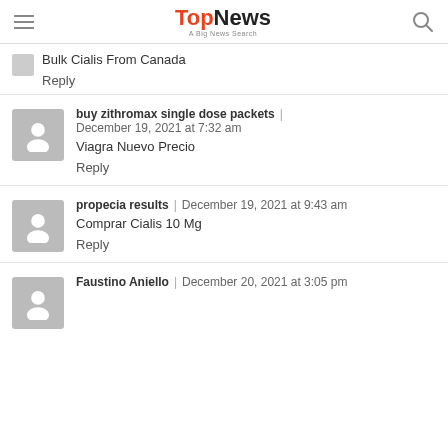TopNews - A Big News Search
Bulk Cialis From Canada
Reply
buy zithromax single dose packets | December 19, 2021 at 7:32 am
Viagra Nuevo Precio
Reply
propecia results | December 19, 2021 at 9:43 am
Comprar Cialis 10 Mg
Reply
Faustino Aniello | December 20, 2021 at 3:05 pm